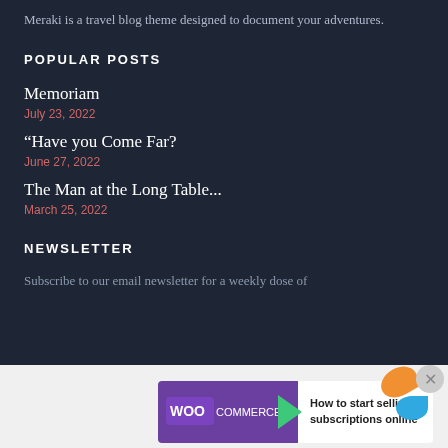Meraki is a travel blog theme designed to document your adventures.
POPULAR POSTS
Memoriam
July 23, 2022
“Have you Come Far?
June 27, 2022
The Man at the Long Table...
March 25, 2022
NEWSLETTER
Subscribe to our email newsletter for a weekly dose of
[Figure (screenshot): WooCommerce advertisement banner - How to start selling subscriptions online]